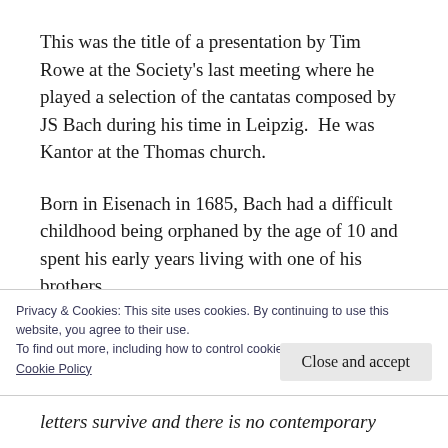This was the title of a presentation by Tim Rowe at the Society's last meeting where he played a selection of the cantatas composed by JS Bach during his time in Leipzig.  He was Kantor at the Thomas church.
Born in Eisenach in 1685, Bach had a difficult childhood being orphaned by the age of 10 and spent his early years living with one of his brothers.
Privacy & Cookies: This site uses cookies. By continuing to use this website, you agree to their use.
To find out more, including how to control cookies, see here:
Cookie Policy
letters survive and there is no contemporary